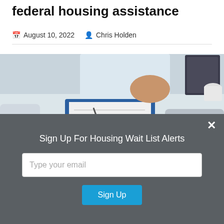federal housing assistance
August 10, 2022  Chris Holden
[Figure (photo): Two people at a desk, one person gesturing with an open hand while the other person has hands clasped together; a clipboard with papers and a pen on the desk.]
Sign Up For Housing Wait List Alerts
Type your email
Sign Up